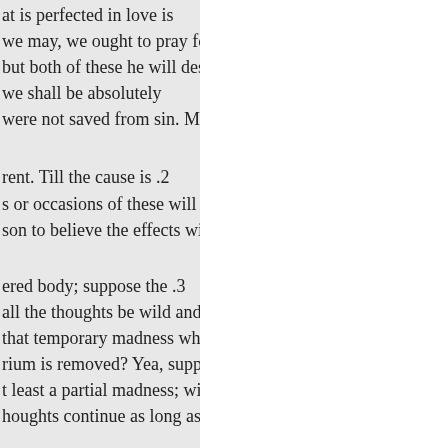at is perfected in love is
we may, we ought to pray for.
but both of these he will destroy,
we shall be absolutely
were not saved from sin. Men
rent. Till the cause is .2
s or occasions of these will
son to believe the effects will
ered body; suppose the .3
all the thoughts be wild and
that temporary madness which
rium is removed? Yea, suppose
t least a partial madness; will
houghts continue as long as the
arise from violent pain ? .4
e order of nature. This order,
ed, by any defect of the
on of the body. And how many
n of our ideas ! Now, all these
mind. Nor, therefore, can we